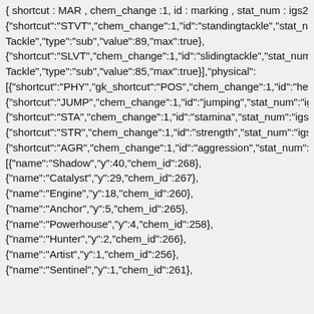{ shortcut : MAR , chem_change :1, id : marking , stat_num : igs27 , {"shortcut":"STVT","chem_change":1,"id":"standingtackle","stat_num":"ig Tackle","type":"sub","value":89,"max":true}, {"shortcut":"SLVT","chem_change":1,"id":"slidingtackle","stat_num":"igs2 Tackle","type":"sub","value":85,"max":true}],"physical": [{"shortcut":"PHY","gk_shortcut":"POS","chem_change":1,"id":"heading" {"shortcut":"JUMP","chem_change":1,"id":"jumping","stat_num":"igs31", {"shortcut":"STA","chem_change":1,"id":"stamina","stat_num":"igs32","na {"shortcut":"STR","chem_change":1,"id":"strength","stat_num":"igs33","n {"shortcut":"AGR","chem_change":1,"id":"aggression","stat_num":"igs34 [{"name":"Shadow","y":40,"chem_id":268}, {"name":"Catalyst","y":29,"chem_id":267}, {"name":"Engine","y":18,"chem_id":260}, {"name":"Anchor","y":5,"chem_id":265}, {"name":"Powerhouse","y":4,"chem_id":258}, {"name":"Hunter","y":2,"chem_id":266}, {"name":"Artist","y":1,"chem_id":256}, {"name":"Sentinel","y":1,"chem_id":261},